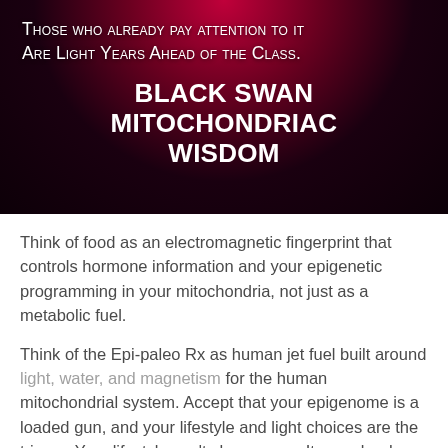[Figure (infographic): Dark background with red/magenta radial glow at top. White text in small-caps style reading 'Those who already pay attention to it Are Light Years Ahead of the Class.' followed by bold uppercase text 'BLACK SWAN MITOCHONDRIAC WISDOM'.]
Think of food as an electromagnetic fingerprint that controls hormone information and your epigenetic programming in your mitochondria, not just as a metabolic fuel.
Think of the Epi-paleo Rx as human jet fuel built around light, water, and magnetism for the human mitochondrial system. Accept that your epigenome is a loaded gun, and your lifestyle and light choices are the trigger. Your lifestyle can't change you. It reveals who you really are. I